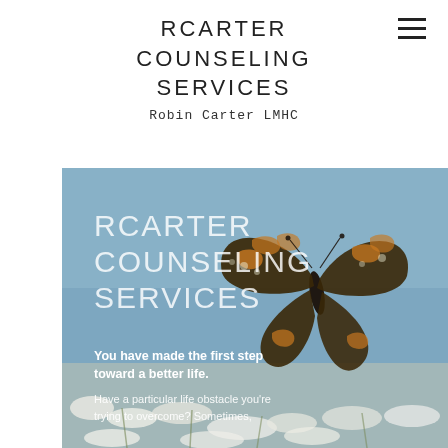RCARTER COUNSELING SERVICES
Robin Carter LMHC
[Figure (photo): Hero image of a butterfly resting on white flowers against a blue sky background, with overlaid white text reading 'RCARTER COUNSELING SERVICES', 'You have made the first step toward a better life.', and 'Have a particular life obstacle you're trying to overcome? Sometimes,']